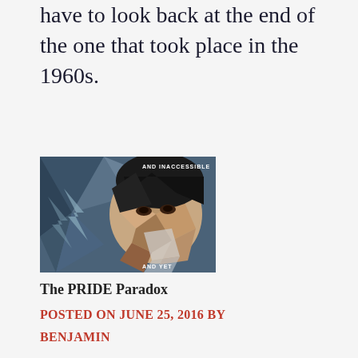have to look back at the end of the one that took place in the 1960s.
[Figure (illustration): Book cover illustration showing a geometric/low-poly style portrait of a face with text 'AND INACCESSIBLE' at top and 'AND YET' at bottom, against a blue-grey background]
The PRIDE Paradox
POSTED ON JUNE 25, 2016 BY BENJAMIN